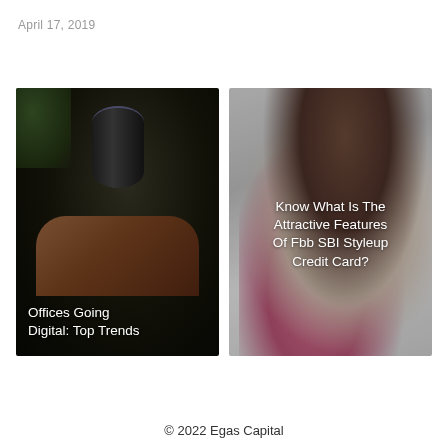April 17, 2019
[Figure (photo): Dark photo of a hand pointing at or touching a circular Amazon Echo smart speaker device, with a blurry green plant visible in the background. White text overlay reads 'Offices Going Digital: Top Trends'.]
[Figure (photo): Photo of a smiling brunette woman holding colorful shopping bags against a light grey/white background. White text overlay reads 'Know What Is The Attractive Features Of Fbb SBI Styleup Credit Card?'.]
© 2022 Egas Capital